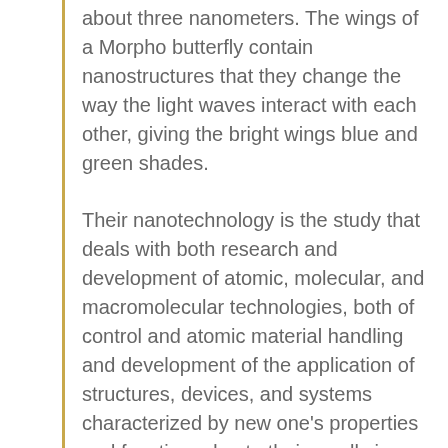about three nanometers. The wings of a Morpho butterfly contain nanostructures that they change the way the light waves interact with each other, giving the bright wings blue and green shades.
Their nanotechnology is the study that deals with both research and development of atomic, molecular, and macromolecular technologies, both of control and atomic material handling and development of the application of structures, devices, and systems characterized by new one's properties and functions due to their small size. Due to the reduced dimensions of these structures, it is, in fact, possible to study and exploit important material properties. The lengths on this scale are